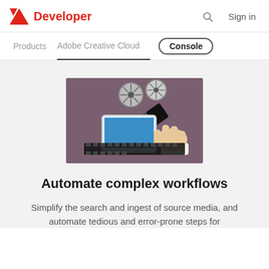Adobe Developer | Sign in
Products   Adobe Creative Cloud   Console
[Figure (illustration): Illustration of a hand touching a tablet/smartphone with film reels floating above it on a mauve/purple background, representing media workflow automation.]
Automate complex workflows
Simplify the search and ingest of source media, and automate tedious and error-prone steps for